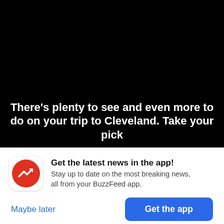[Figure (screenshot): Black background area representing a video or image content area from a BuzzFeed article about Cleveland]
There’s plenty to see and even more to do on your trip to Cleveland. Take your pick
[Figure (infographic): BuzzFeed app notification banner with red circular logo icon showing a white trending arrow, title 'Get the latest news in the app!', body text 'Stay up to date on the most breaking news, all from your BuzzFeed app.', a 'Maybe later' text link and a blue 'Get the app' button]
Get the latest news in the app!
Stay up to date on the most breaking news, all from your BuzzFeed app.
Maybe later
Get the app